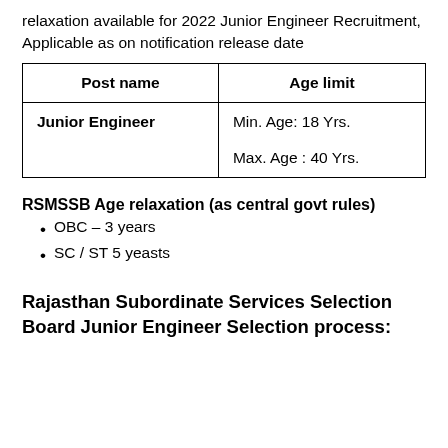relaxation available for 2022 Junior Engineer Recruitment, Applicable as on notification release date
| Post name | Age limit |
| --- | --- |
| Junior Engineer | Min. Age: 18 Yrs.

Max. Age : 40 Yrs. |
RSMSSB Age relaxation (as central govt rules)
OBC – 3 years
SC / ST 5 yeasts
Rajasthan Subordinate Services Selection Board Junior Engineer Selection process: